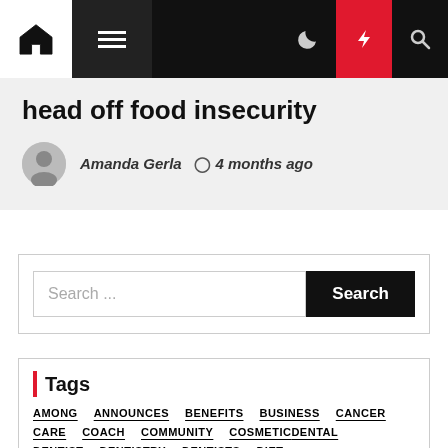Navigation bar with home, menu, moon, lightning, search icons
head off food insecurity
Amanda Gerla  4 months ago
Search ...
Tags
AMONG
ANNOUNCES
BENEFITS
BUSINESS
CANCER
CARE
COACH
COMMUNITY
COSMETIC
DENTAL
DENTIST
DENTISTRY
DENTISTS
DIET